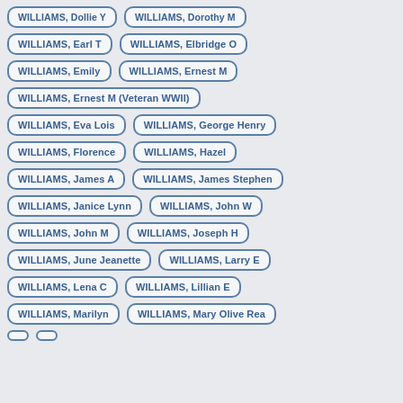WILLIAMS, Dollie Y
WILLIAMS, Dorothy M
WILLIAMS, Earl T
WILLIAMS, Elbridge O
WILLIAMS, Emily
WILLIAMS, Ernest M
WILLIAMS, Ernest M (Veteran WWII)
WILLIAMS, Eva Lois
WILLIAMS, George Henry
WILLIAMS, Florence
WILLIAMS, Hazel
WILLIAMS, James A
WILLIAMS, James Stephen
WILLIAMS, Janice Lynn
WILLIAMS, John W
WILLIAMS, John M
WILLIAMS, Joseph H
WILLIAMS, June Jeanette
WILLIAMS, Larry E
WILLIAMS, Lena C
WILLIAMS, Lillian E
WILLIAMS, Marilyn
WILLIAMS, Mary Olive Rea